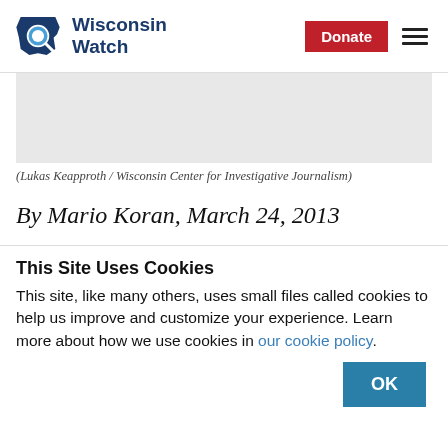Wisconsin Watch
[Figure (photo): Gray placeholder image area for a photo]
(Lukas Keapproth / Wisconsin Center for Investigative Journalism)
By Mario Koran, March 24, 2013
This Site Uses Cookies
This site, like many others, uses small files called cookies to help us improve and customize your experience. Learn more about how we use cookies in our cookie policy.